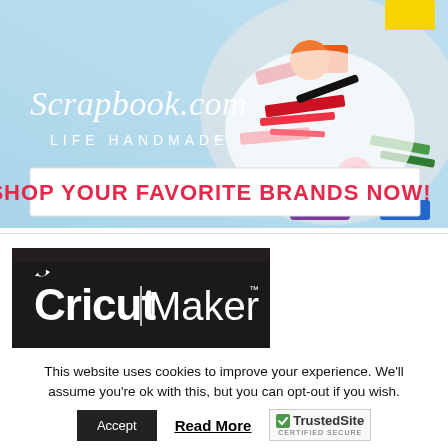[Figure (illustration): Scrapbook.com 'Life Handmade' advertisement banner with light blue watercolor background on the left showing the Scrapbook.com logo and tagline 'Life Handmade', and scrapbooking craft supplies on the right. A white box contains pink bold text: 'SHOP YOUR FAVORITE BRANDS NOW!']
[Figure (logo): Cricut Maker logo on dark/black background — white stylized 'Cricut | Maker' text with trademark symbol]
This website uses cookies to improve your experience. We'll assume you're ok with this, but you can opt-out if you wish.
Accept
Read More
[Figure (logo): TrustedSite Certified Secure badge with green checkmark]